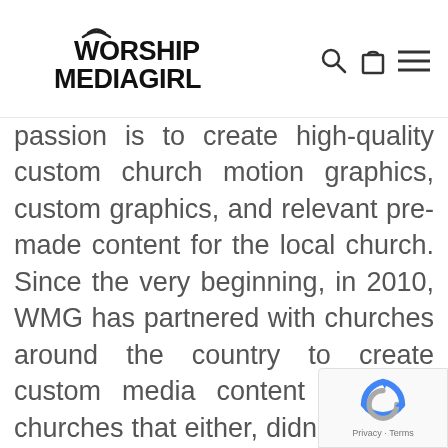WORSHIP MEDIA GIRL [logo with navigation icons: search, cart, menu]
passion is to create high-quality custom church motion graphics, custom graphics, and relevant pre-made content for the local church. Since the very beginning, in 2010, WMG has partnered with churches around the country to create custom media content for local churches that either, didn't have an in-house media team, or were in need of extra help.
[Figure (logo): reCAPTCHA badge with Privacy and Terms text]